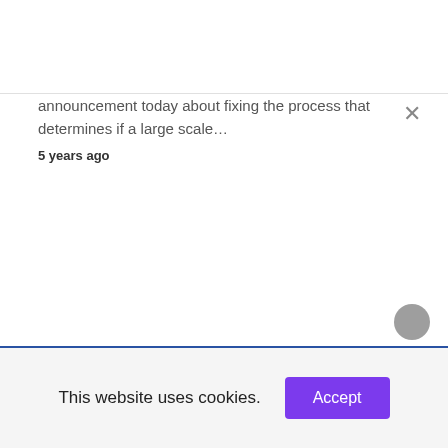announcement today about fixing the process that determines if a large scale…
5 years ago
This website uses cookies.